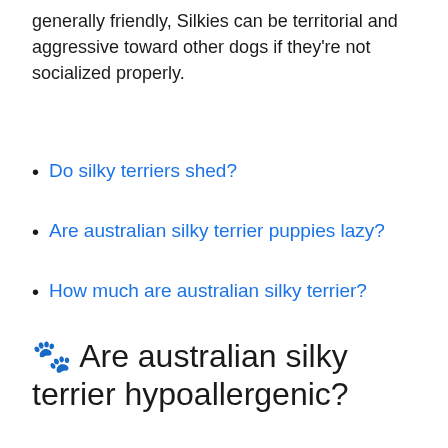generally friendly, Silkies can be territorial and aggressive toward other dogs if they're not socialized properly.
Do silky terriers shed?
Are australian silky terrier puppies lazy?
How much are australian silky terrier?
🐾 Are australian silky terrier hypoallergenic?
Are Silky Terriers Hypoallergenic Dogs? Yes! With a distinctive silky and smooth coat that doesn't shed, he's the ultimate allergy-friendly pooch!
Can a australian silky terrier be purebred?